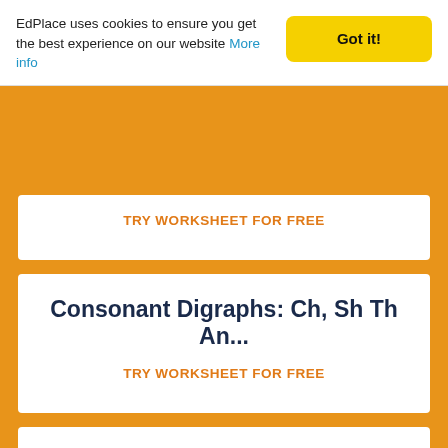EdPlace uses cookies to ensure you get the best experience on our website More info
Got it!
TRY WORKSHEET FOR FREE
Consonant Digraphs: Ch, Sh Th An...
TRY WORKSHEET FOR FREE
Digraph 'le' 1
TRY WORKSHEET FOR FREE
Digraph 'le' 2